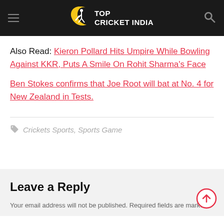Top Cricket India
Also Read: Kieron Pollard Hits Umpire While Bowling Against KKR, Puts A Smile On Rohit Sharma's Face
Ben Stokes confirms that Joe Root will bat at No. 4 for New Zealand in Tests.
Crickets Sports, Sports Game
Leave a Reply
Your email address will not be published. Required fields are marked *